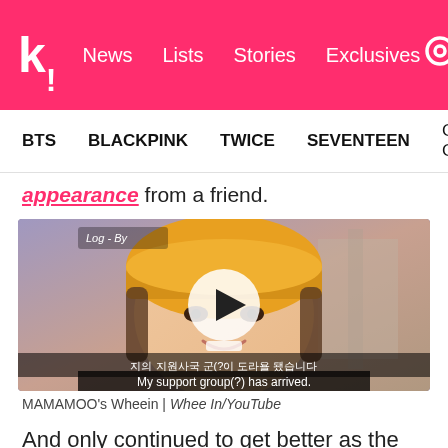k! News Lists Stories Exclusives
BTS BLACKPINK TWICE SEVENTEEN Girls' Generation
appearance from a friend.
[Figure (photo): Video thumbnail of MAMAMOO's Wheein wearing a yellow beanie hat, with Korean and English subtitles reading 'My support group(?) has arrived.' and a play button overlay. Watermark reads 'Log-By'.]
MAMAMOO's Wheein | Whee In/YouTube
And only continued to get better as the director